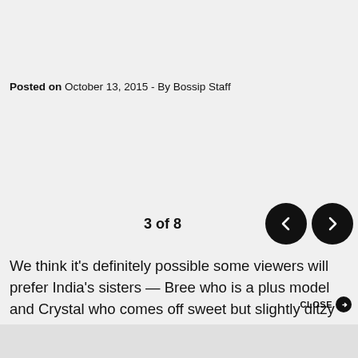Posted on October 13, 2015 - By Bossip Staff
3 of 8
We think it's definitely possible some viewers will prefer India's sisters — Bree who is a plus model and Crystal who comes off sweet but slightly ditzy and went the college route